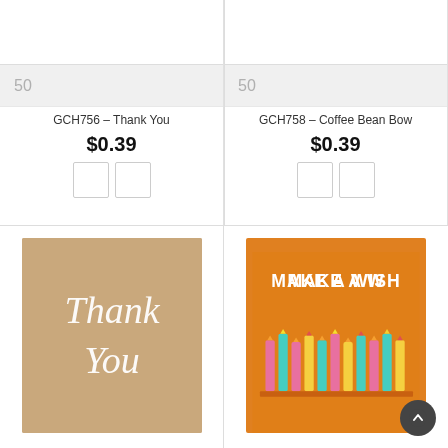50
50
GCH756 – Thank You
$0.39
GCH758 – Coffee Bean Bow
$0.39
[Figure (illustration): Thank You greeting card with kraft paper brown background and white script lettering]
[Figure (illustration): Make A Wish birthday card with orange background, white bold text, and colorful birthday candles]